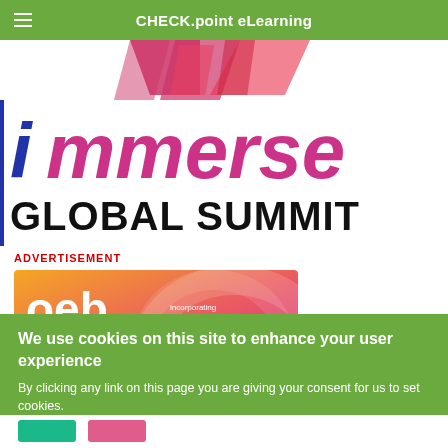CHECK.point eLearning
[Figure (logo): Immerse Global Summit logo with pink/red geometric shapes at top, 'immerse' in italic with blue 'i' and pink remaining letters, 'GLOBAL SUMMIT' in bold black below]
ADVERTISEMENT
[Figure (illustration): OEB conference banner - orange/pink gradient background with 'oeb' logo in white, 'incorporating learning technologies' badge, 'Shaping the future of learning' tagline, 'The global, cross-sector conference' text]
We use cookies on this site to enhance your user experience
By clicking any link on this page you are giving your consent for us to set cookies.